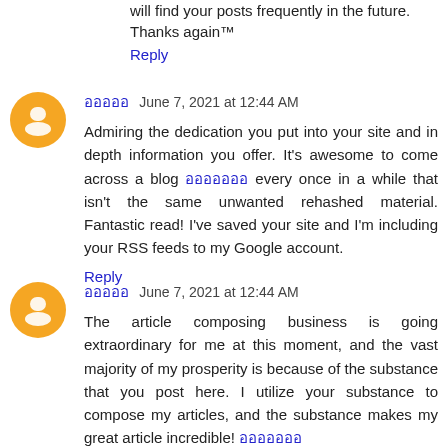will find your posts frequently in the future. Thanks again™
Reply
อออออ June 7, 2021 at 12:44 AM
Admiring the dedication you put into your site and in depth information you offer. It's awesome to come across a blog อออออออ every once in a while that isn't the same unwanted rehashed material. Fantastic read! I've saved your site and I'm including your RSS feeds to my Google account.
Reply
อออออ June 7, 2021 at 12:44 AM
The article composing business is going extraordinary for me at this moment, and the vast majority of my prosperity is because of the substance that you post here. I utilize your substance to compose my articles, and the substance makes my great article incredible! อออออออ
Reply